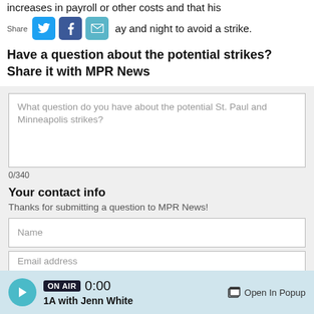increases in payroll or other costs and that his
ay and night to avoid a strike.
Have a question about the potential strikes? Share it with MPR News
What question do you have about the potential St. Paul and Minneapolis strikes?
0/340
Your contact info
Thanks for submitting a question to MPR News!
Name
Email address
ON AIR 0:00 1A with Jenn White Open In Popup